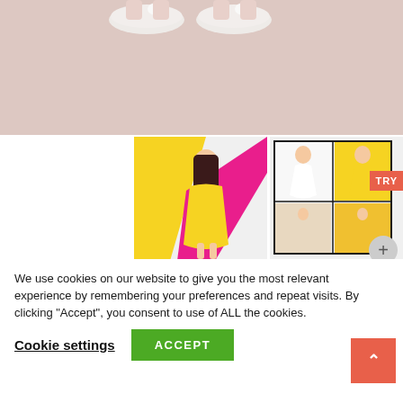[Figure (photo): Top portion of a product photo showing white ballet shoes/flats on a beige/pink background, feet at top of frame]
[Figure (photo): Thumbnail of a girl in a yellow dress standing in front of colorful yellow and pink geometric background]
[Figure (photo): Thumbnail showing a grid/collage of multiple photos of girls in dresses against colorful backgrounds, with a TRY button overlay]
We use cookies on our website to give you the most relevant experience by remembering your preferences and repeat visits. By clicking “Accept”, you consent to use of ALL the cookies.
Cookie settings
ACCEPT